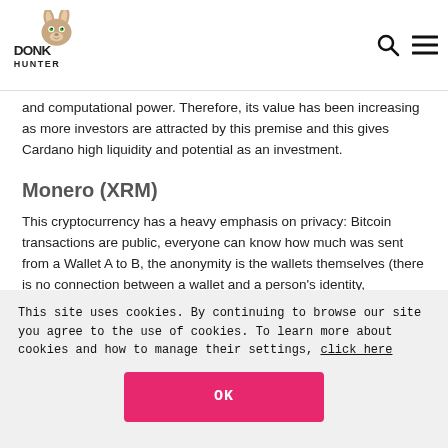Donk Hunter - navigation with logo, search and menu icons
and computational power. Therefore, its value has been increasing as more investors are attracted by this premise and this gives Cardano high liquidity and potential as an investment.
Monero (XRM)
This cryptocurrency has a heavy emphasis on privacy: Bitcoin transactions are public, everyone can know how much was sent from a Wallet A to B, the anonymity is the wallets themselves (there is no connection between a wallet and a person's identity, geographical location, etc). In Monero however the transactions themselves are private as well, so this is a plus for those seeking to increase their anonymity. The downside is that it makes the
This site uses cookies. By continuing to browse our site you agree to the use of cookies. To learn more about cookies and how to manage their settings, click here
OK